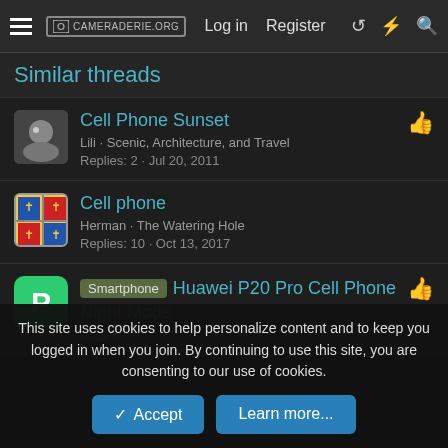CAMERADERIE.ORG — Log in  Register
Similar threads
Cell Phone Sunset
Lili · Scenic, Architecture, and Travel
Replies: 2 · Jul 20, 2011
Cell phone
Herman · The Watering Hole
Replies: 10 · Oct 13, 2017
Smartphone  Huawei P20 Pro Cell Phone Night Mode
Petach
This site uses cookies to help personalize content and to keep you logged in when you join. By continuing to use this site, you are consenting to our use of cookies.